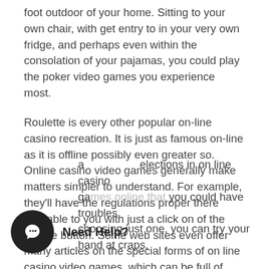foot outdoor of your home. Sitting to your own chair, with get entry to in your very own fridge, and perhaps even within the consolation of your pajamas, you could play the poker video games you experience most.
Roulette is every other popular on-line casino recreation. It is just as famous on-line as it is offline possibly even greater so. Online casino video games generally make matters simpler to understand. For example, they'll have the regulations proper there available to you with just a click on of the mouse button. Some web sites even offer many articles on the special forms of on line casino video games, which can be full of techniques, regulations, and records of the game for you history buffs.
a elections in on line casino games online that you could have troubles choosing just one, you can try your hand at craps,